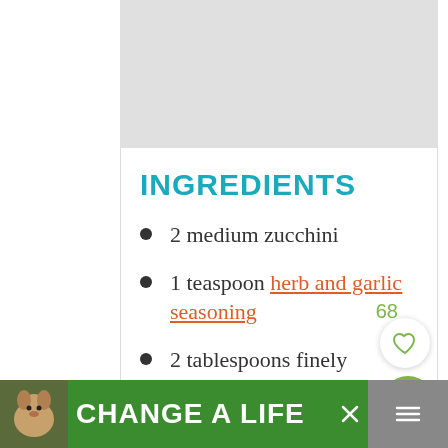[Figure (photo): A food/recipe image placeholder at the top of the page, light grey background]
INGREDIENTS
2 medium zucchini
1 teaspoon herb and garlic seasoning
2 tablespoons finely shredded parmesan
Avocado oil spray
[Figure (infographic): Advertisement banner at bottom: dog image on left, green background, text 'CHANGE A LIFE', close button, and additional app icons on right]